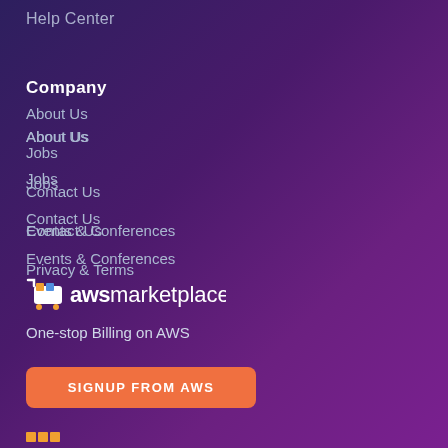Help Center
Company
About Us
Jobs
Contact Us
Events & Conferences
Privacy & Terms
[Figure (logo): AWS Marketplace logo with shopping cart icon and text 'awsmarketplace']
One-stop Billing on AWS
SIGNUP FROM AWS